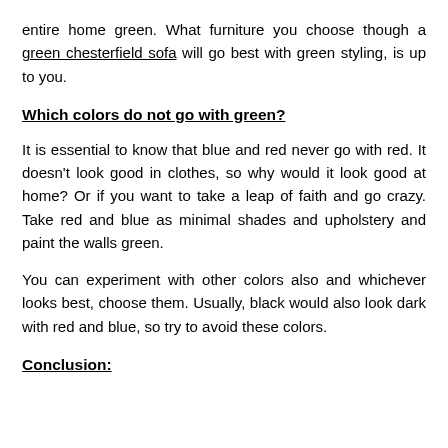entire home green. What furniture you choose though a green chesterfield sofa will go best with green styling, is up to you.
Which colors do not go with green?
It is essential to know that blue and red never go with red. It doesn't look good in clothes, so why would it look good at home? Or if you want to take a leap of faith and go crazy. Take red and blue as minimal shades and upholstery and paint the walls green.
You can experiment with other colors also and whichever looks best, choose them. Usually, black would also look dark with red and blue, so try to avoid these colors.
Conclusion: